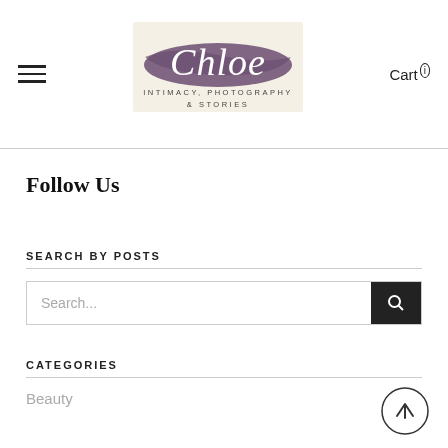[Figure (logo): Chloe Intimacy, Photography & Stories logo with script font and purple brush stroke background]
Cart ①
Follow Us
SEARCH BY POSTS
Search...
CATEGORIES
Beauty